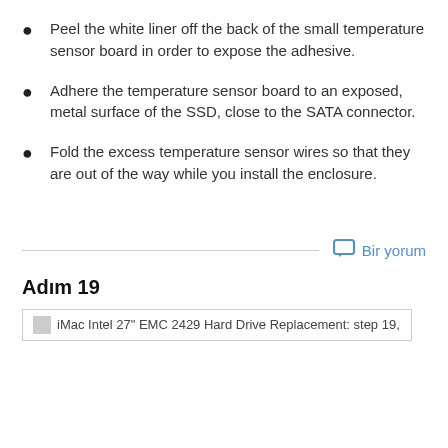Peel the white liner off the back of the small temperature sensor board in order to expose the adhesive.
Adhere the temperature sensor board to an exposed, metal surface of the SSD, close to the SATA connector.
Fold the excess temperature sensor wires so that they are out of the way while you install the enclosure.
Bir yorum
Adım 19
[Figure (screenshot): iMac Intel 27" EMC 2429 Hard Drive Replacement: step 19, image thumbnail placeholder]